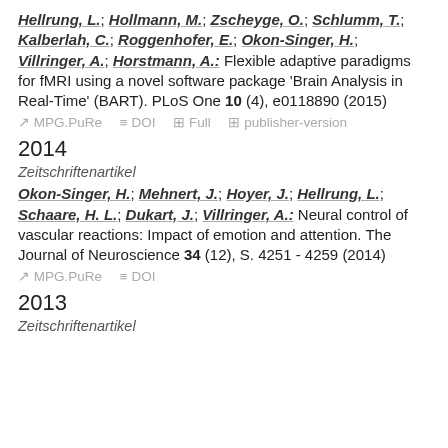Hellrung, L.; Hollmann, M.; Zscheyge, O.; Schlumm, T.; Kalberlah, C.; Roggenhofer, E.; Okon-Singer, H.; Villringer, A.; Horstmann, A.: Flexible adaptive paradigms for fMRI using a novel software package 'Brain Analysis in Real-Time' (BART). PLoS One 10 (4), e0118890 (2015)
MPG.PuRe  DOI  Full  publisher-version
2014
Zeitschriftenartikel
Okon-Singer, H.; Mehnert, J.; Hoyer, J.; Hellrung, L.; Schaare, H. L.; Dukart, J.; Villringer, A.: Neural control of vascular reactions: Impact of emotion and attention. The Journal of Neuroscience 34 (12), S. 4251 - 4259 (2014)
MPG.PuRe  DOI
2013
Zeitschriftenartikel